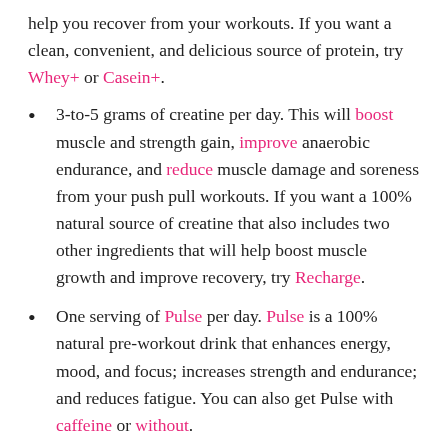help you recover from your workouts. If you want a clean, convenient, and delicious source of protein, try Whey+ or Casein+.
3-to-5 grams of creatine per day. This will boost muscle and strength gain, improve anaerobic endurance, and reduce muscle damage and soreness from your push pull workouts. If you want a 100% natural source of creatine that also includes two other ingredients that will help boost muscle growth and improve recovery, try Recharge.
One serving of Pulse per day. Pulse is a 100% natural pre-workout drink that enhances energy, mood, and focus; increases strength and endurance; and reduces fatigue. You can also get Pulse with caffeine or without.